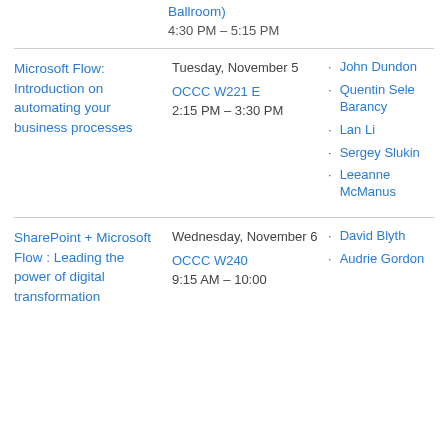Ballroom)
4:30 PM – 5:15 PM
Microsoft Flow: Introduction on automating your business processes
Tuesday, November 5
OCCC W221 E
2:15 PM – 3:30 PM
John Dundon
Quentin Sele Barancy
Lan Li
Sergey Slukin
Leeanne McManus
SharePoint + Microsoft Flow : Leading the power of digital transformation
Wednesday, November 6
OCCC W240
9:15 AM – 10:00
David Blyth
Audrie Gordon